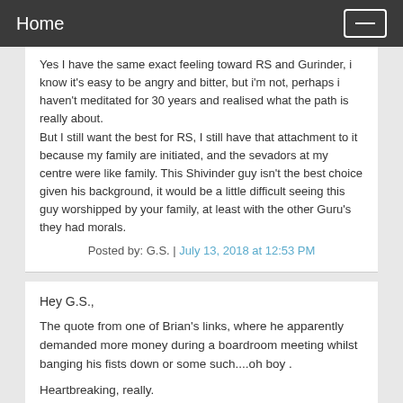Home
Yes I have the same exact feeling toward RS and Gurinder, i know it's easy to be angry and bitter, but i'm not, perhaps i haven't meditated for 30 years and realised what the path is really about.
But I still want the best for RS, I still have that attachment to it because my family are initiated, and the sevadors at my centre were like family. This Shivinder guy isn't the best choice given his background, it would be a little difficult seeing this guy worshipped by your family, at least with the other Guru's they had morals.
Posted by: G.S. | July 13, 2018 at 12:53 PM
Hey G.S.,
The quote from one of Brian's links, where he apparently demanded more money during a boardroom meeting whilst banging his fists down or some such....oh boy .
Heartbreaking, really.